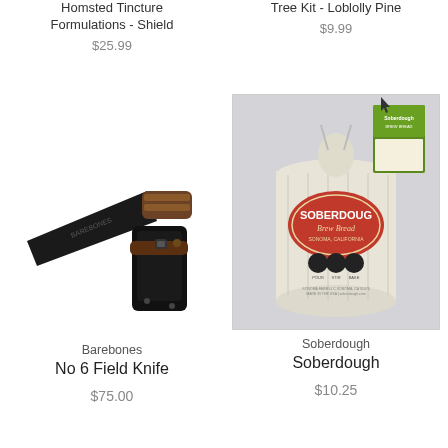Homsted Tincture Formulations - Shield
$25.99
Tree Kit - Loblolly Pine
$9.99
[Figure (photo): Barebones No 6 Field Knife with wooden handle and black blade, shown with black leather sheath]
[Figure (photo): Soberdough bread mix in a white canvas drawstring bag with red circular logo and green recipe card attached]
Barebones
No 6 Field Knife
$75.00
Soberdough
Soberdough
$10.25